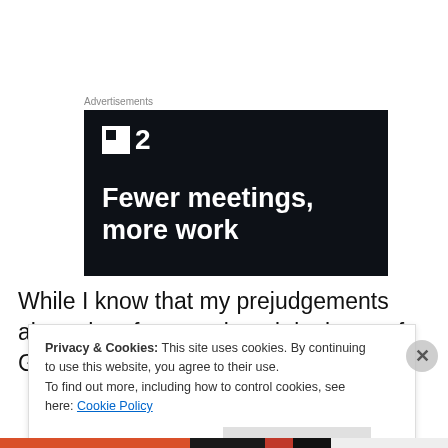Advertisements
[Figure (illustration): Dark background advertisement for Plan2 (or F2) project management tool. Logo shows a white square icon and the number 2. Tagline reads 'Fewer meetings, more work' in bold white text.]
While I know that my prejudgements about the aforementioned denizens of Granville Street are, in many
Privacy & Cookies: This site uses cookies. By continuing to use this website, you agree to their use.
To find out more, including how to control cookies, see here: Cookie Policy